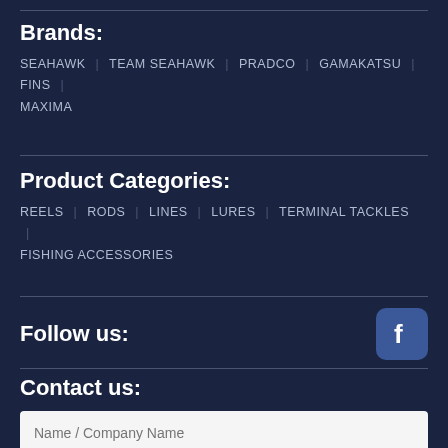Brands:
SEAHAWK | TEAM SEAHAWK | PRADCO | GAMAKATSU | FINS | MAXIMA
Product Categories:
REELS | RODS | LINES | LURES | TERMINAL TACKLES | FISHING ACCESSORIES
Follow us:
[Figure (logo): Facebook logo icon, blue rounded square with white 'f']
Contact us:
Name / Company Name
Email